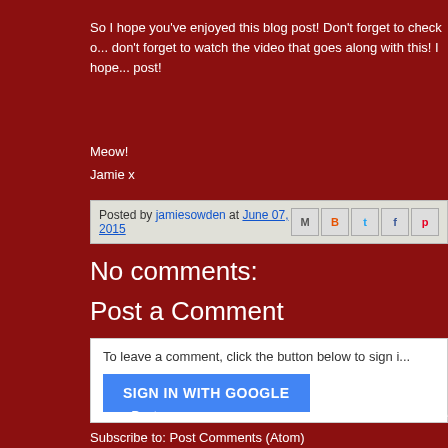So I hope you've enjoyed this blog post! Don't forget to check o... don't forget to watch the video that goes along with this! I hope... post!
Meow!
Jamie x
Posted by jamiesowden at June 07, 2015
No comments:
Post a Comment
To leave a comment, click the button below to sign i...
SIGN IN WITH GOOGLE
Newer Post
Home
Subscribe to: Post Comments (Atom)